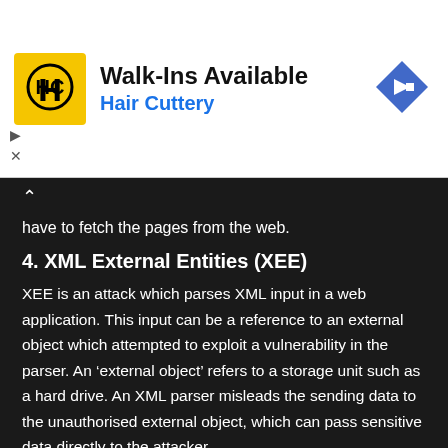[Figure (other): Advertisement banner for Hair Cuttery with yellow logo, text 'Walk-Ins Available' and 'Hair Cuttery', blue diamond direction sign icon on right, and ad controls (play/close) on lower left]
have to fetch the pages from the web.
4. XML External Entities (XEE)
XEE is an attack which parses XML input in a web application. This input can be a reference to an external object which attempted to exploit a vulnerability in the parser. An ‘external object’ refers to a storage unit such as a hard drive. An XML parser misleads the sending data to the unauthorised external object, which can pass sensitive data directly to the attacker.